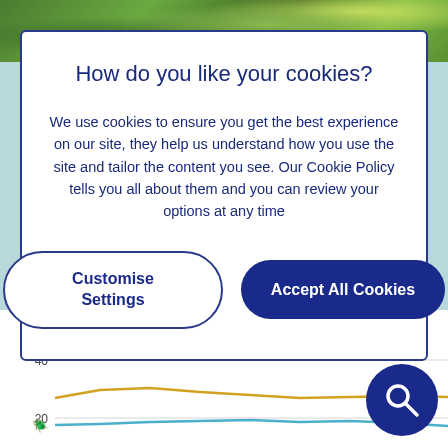[Figure (photo): Green foliage/nature photo strip at the top of the page]
How do you like your cookies?
We use cookies to ensure you get the best experience on our site, they help us understand how you use the site and tailor the content you see. Our Cookie Policy tells you all about them and you can review your options at any time
Customise Settings
Accept All Cookies
[Figure (line-chart): Line chart showing average temperature over time with two lines: one orange (around 25) and one blue (around 18). Y-axis shows value 40 at top and 20 marked. Partially visible.]